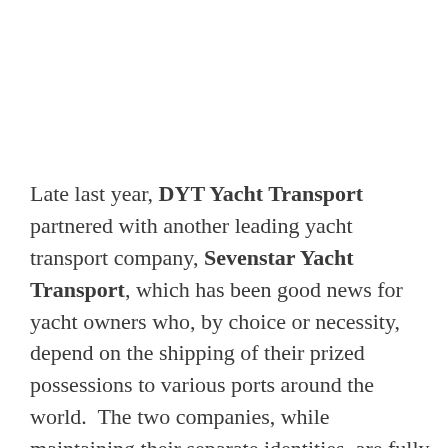Late last year, DYT Yacht Transport partnered with another leading yacht transport company, Sevenstar Yacht Transport, which has been good news for yacht owners who, by choice or necessity, depend on the shipping of their prized possessions to various ports around the world.  The two companies, while maintaining their separate identities, are fully equipped to advise on the best options for either float-on/float-off (FLO/FLO) or lift-on/lift-off (LO/LO) services offered by a fleet of over 120 ships that are wholly owned and operated